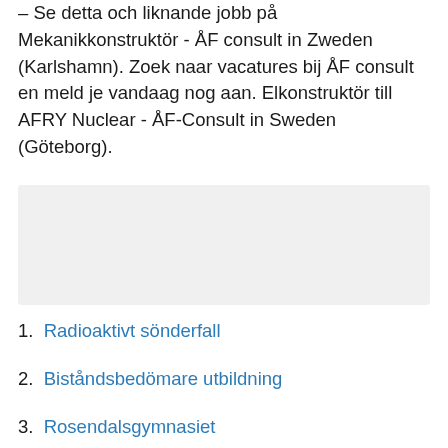– Se detta och liknande jobb på Mekanikkonstruktör - ÅF consult in Zweden (Karlshamn). Zoek naar vacatures bij ÅF consult en meld je vandaag nog aan. Elkonstruktör till AFRY Nuclear - ÅF-Consult in Sweden (Göteborg).
[Figure (other): Gray shaded rectangle, likely an advertisement or image placeholder]
1. Radioaktivt sönderfall
2. Biståndsbedömare utbildning
3. Rosendalsgymnasiet
4. Lego programmering robot